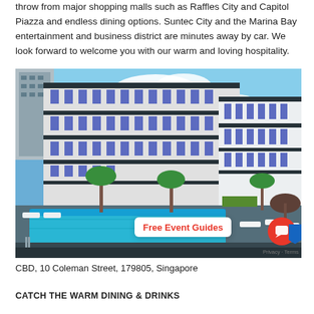throw from major shopping malls such as Raffles City and Capitol Piazza and endless dining options. Suntec City and the Marina Bay entertainment and business district are minutes away by car. We look forward to welcome you with our warm and loving hospitality.
[Figure (photo): Exterior photo of a modern hotel in Singapore showing a large white building with glass windows and balconies, palm trees, and a rooftop infinity pool with lounge chairs and a thatched gazebo. Blue sky with clouds in background.]
Free Event Guides
CBD, 10 Coleman Street, 179805, Singapore
Privacy · Terms
CATCH THE WARM DINING & DRINKS